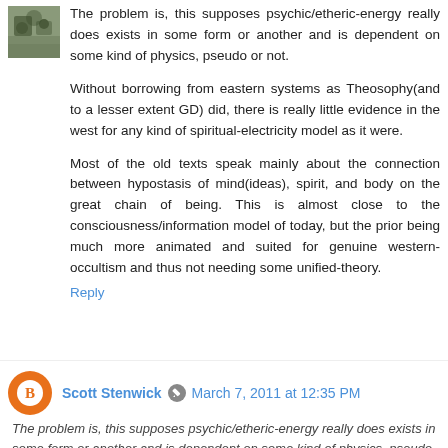[Figure (photo): Small outdoor photo with trees/foliage used as avatar]
The problem is, this supposes psychic/etheric-energy really does exists in some form or another and is dependent on some kind of physics, pseudo or not.
Without borrowing from eastern systems as Theosophy(and to a lesser extent GD) did, there is really little evidence in the west for any kind of spiritual-electricity model as it were.
Most of the old texts speak mainly about the connection between hypostasis of mind(ideas), spirit, and body on the great chain of being. This is almost close to the consciousness/information model of today, but the prior being much more animated and suited for genuine western-occultism and thus not needing some unified-theory.
Reply
[Figure (illustration): Orange circle avatar with white Blogger B logo]
Scott Stenwick  March 7, 2011 at 12:35 PM
The problem is, this supposes psychic/etheric-energy really does exists in some form or another and is dependent on some kind of physics, pseudo or not.